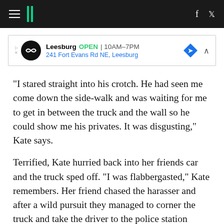HuffPost
[Figure (other): Advertisement banner for Leesburg location, showing OPEN 10AM-7PM and address 241 Fort Evans Rd NE, Leesburg]
"I stared straight into his crotch. He had seen me come down the side-walk and was waiting for me to get in between the truck and the wall so he could show me his privates. It was disgusting," Kate says.
Terrified, Kate hurried back into her friends car and the truck sped off. "I was flabbergasted," Kate remembers. Her friend chased the harasser and after a wild pursuit they managed to corner the truck and take the driver to the police station